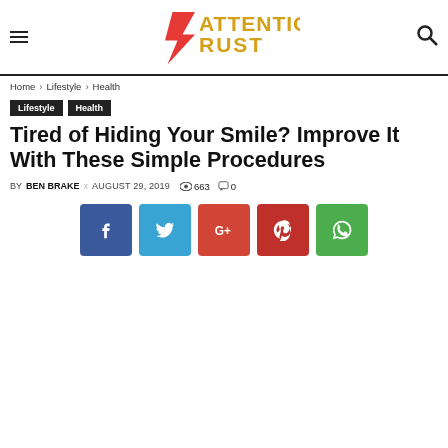Attention Rust
Home › Lifestyle › Health
Lifestyle  Health
Tired of Hiding Your Smile? Improve It With These Simple Procedures
BY BEN BRAKE x AUGUST 29, 2019  663  0
[Figure (other): Social share buttons: Facebook, Twitter, Google+, Pinterest, WhatsApp]